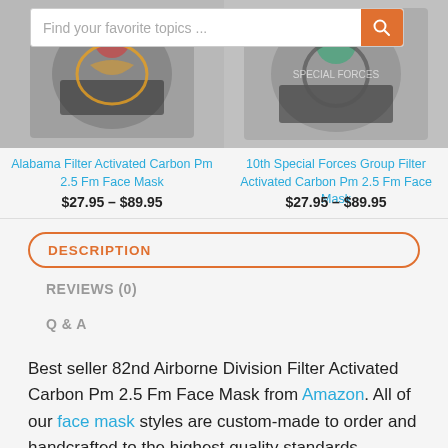[Figure (screenshot): Website screenshot showing product listings and description section for face masks]
Alabama Filter Activated Carbon Pm 2.5 Fm Face Mask
$27.95 – $89.95
10th Special Forces Group Filter Activated Carbon Pm 2.5 Fm Face Mask
$27.95 – $89.95
DESCRIPTION
REVIEWS (0)
Q & A
Best seller 82nd Airborne Division Filter Activated Carbon Pm 2.5 Fm Face Mask from Amazon. All of our face mask styles are custom-made to order and handcrafted to the highest quality standards.